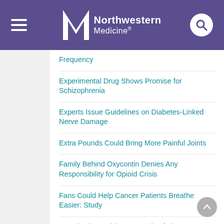Northwestern Medicine
Frequency
Experimental Drug Shows Promise for Schizophrenia
Experts Issue Guidelines on Diabetes-Linked Nerve Damage
Extra Pounds Could Bring More Painful Joints
Family Behind Oxycontin Denies Any Responsibility for Opioid Crisis
Fans Could Help Cancer Patients Breathe Easier: Study
Fat Injections Might Ease Pain of Plantar Fasciitis
Fatal Opioid ODs Keep Rising in Black